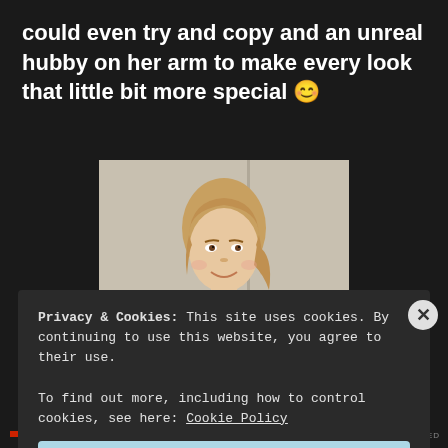could even try and copy and an unreal hubby on her arm to make every look that little bit more special 😊
[Figure (photo): A young woman with light brown hair pulled back, smiling, wearing a textured knit sweater over a white collared shirt, photographed against a light background]
Privacy & Cookies: This site uses cookies. By continuing to use this website, you agree to their use.
To find out more, including how to control cookies, see here: Cookie Policy
Close and accept